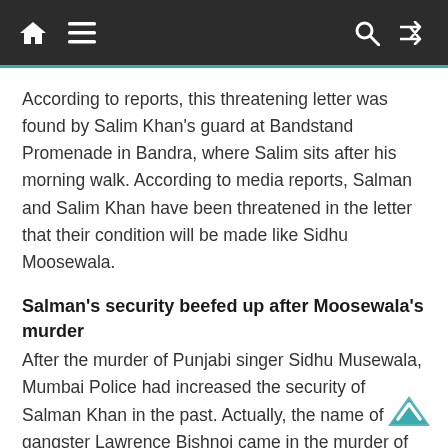Navigation bar with home, menu, search, and shuffle icons
According to reports, this threatening letter was found by Salim Khan's guard at Bandstand Promenade in Bandra, where Salim sits after his morning walk. According to media reports, Salman and Salim Khan have been threatened in the letter that their condition will be made like Sidhu Moosewala.
Salman's security beefed up after Moosewala's murder
After the murder of Punjabi singer Sidhu Musewala, Mumbai Police had increased the security of Salman Khan in the past. Actually, the name of gangster Lawrence Bishnoi came in the murder of Moosewala, he had threatened to kill Salman in 2008. In view of this, the Mumbai Police had decided